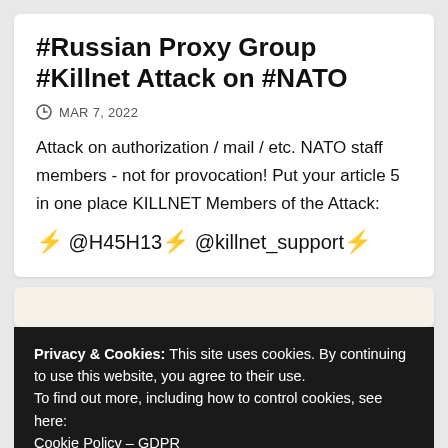#Russian Proxy Group #Killnet Attack on #NATO
MAR 7, 2022
Attack on authorization / mail / etc. NATO staff members - not for provocation! Put your article 5 in one place KILLNET Members of the Attack:
⚡ @H45H13⚡ @killnet_support⚡
Privacy & Cookies: This site uses cookies. By continuing to use this website, you agree to their use.
To find out more, including how to control cookies, see here: Cookie Policy – GDPR
Close and accept
n u2/  146  8